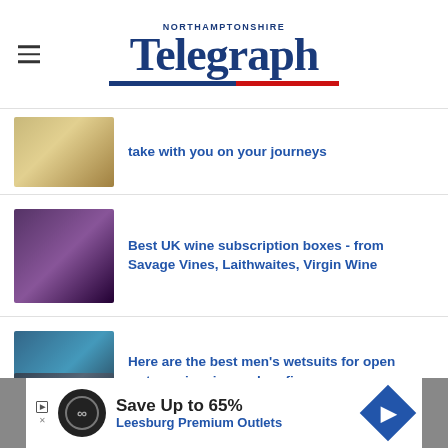Northamptonshire Telegraph
take with you on your journeys
Best UK wine subscription boxes - from Savage Vines, Laithwaites, Virgin Wine
Here are the best men's wetsuits for open water swimming and surfing
Warm, comfortable, and stylish – these are the best women's wetsuits around
[Figure (infographic): Advertisement banner: Save Up to 65% Leesburg Premium Outlets]